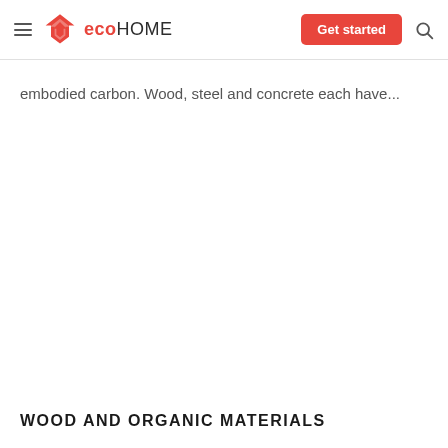eco HOME — Get started
embodied carbon. Wood, steel and concrete each have...
WOOD AND ORGANIC MATERIALS